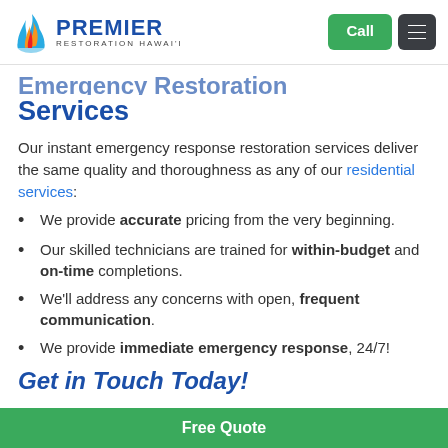Premier Restoration Hawai'i — Call | Menu
Emergency Restoration Services
Our instant emergency response restoration services deliver the same quality and thoroughness as any of our residential services:
We provide accurate pricing from the very beginning.
Our skilled technicians are trained for within-budget and on-time completions.
We'll address any concerns with open, frequent communication.
We provide immediate emergency response, 24/7!
Get in Touch Today!
Free Quote